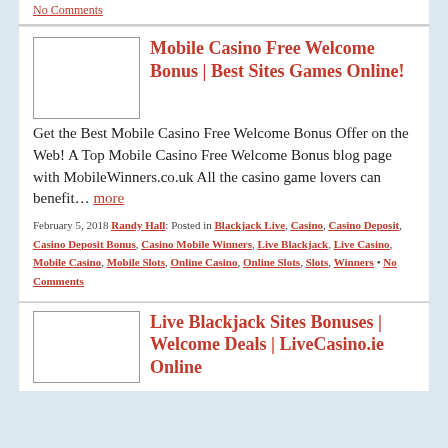No Comments
Mobile Casino Free Welcome Bonus | Best Sites Games Online!
Get the Best Mobile Casino Free Welcome Bonus Offer on the Web! A Top Mobile Casino Free Welcome Bonus blog page with MobileWinners.co.uk All the casino game lovers can benefit… more
February 5, 2018 Randy Hall: Posted in Blackjack Live, Casino, Casino Deposit, Casino Deposit Bonus, Casino Mobile Winners, Live Blackjack, Live Casino, Mobile Casino, Mobile Slots, Online Casino, Online Slots, Slots, Winners • No Comments
Live Blackjack Sites Bonuses | Welcome Deals | LiveCasino.ie Online